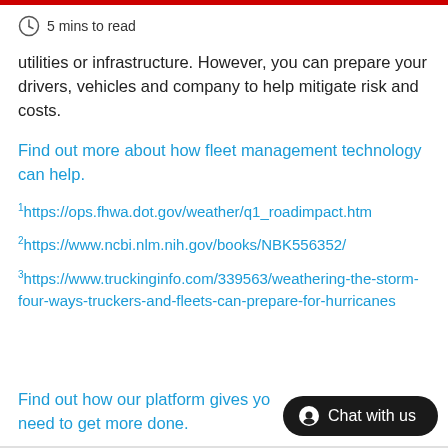5 mins to read
utilities or infrastructure. However, you can prepare your drivers, vehicles and company to help mitigate risk and costs.
Find out more about how fleet management technology can help.
1https://ops.fhwa.dot.gov/weather/q1_roadimpact.htm
2https://www.ncbi.nlm.nih.gov/books/NBK556352/
3https://www.truckinginfo.com/339563/weathering-the-storm-four-ways-truckers-and-fleets-can-prepare-for-hurricanes
Find out how our platform gives yo need to get more done.